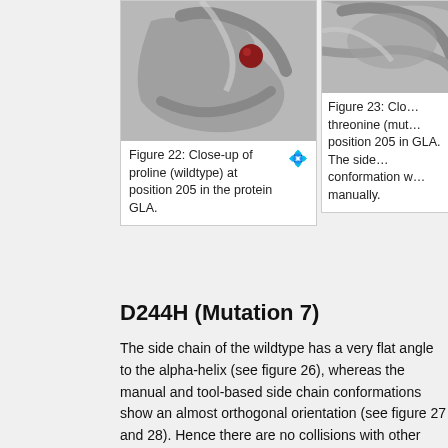[Figure (photo): Close-up of proline (wildtype) at position 205 in the protein GLA — molecular visualization with grey ribbon structure and red spherical element]
Figure 22: Close-up of proline (wildtype) at position 205 in the protein GLA.
[Figure (photo): Close-up of threonine (mutant) at position 205 in protein GLA — molecular visualization, partially cropped]
Figure 23: Close-up of threonine (mutant) at position 205 in protein GLA. The side chain conformation was set manually.
D244H (Mutation 7)
The side chain of the wildtype has a very flat angle to the alpha-helix (see figure 26), whereas the manual and tool-based side chain conformations show an almost orthogonal orientation (see figure 27 and 28). Hence there are no collisions with other residues. The manual and tool-based conformations are also very similar to each other.
D244 forms four hydrogen bonds. The carboxyl group of the side chain forms two bonds with arginine at position 356. The remaining two bonds are formed by the backbone of D244 with K240 and F248. These two hydrogen